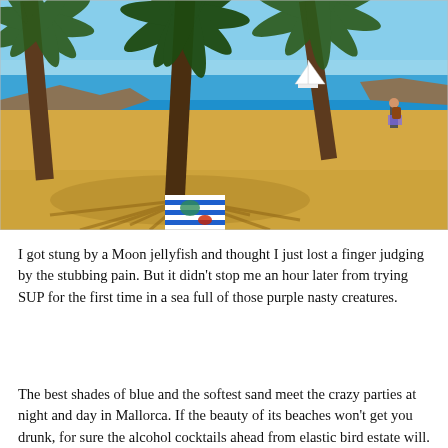[Figure (photo): A sunny beach scene with tall palm trees casting long shadows across golden sand. In the background is a calm blue sea with a sailing boat visible. A person with a backpack walks along the shoreline on the right. In the foreground under the palm trees is a striped beach towel with belongings on it.]
I got stung by a Moon jellyfish and thought I just lost a finger judging by the stubbing pain. But it didn't stop me an hour later from trying SUP for the first time in a sea full of those purple nasty creatures.
The best shades of blue and the softest sand meet the crazy parties at night and day in Mallorca. If the beauty of its beaches won't get you drunk, for sure the alcohol cocktails ahead from elastic bird estate will. Don't wait, please give